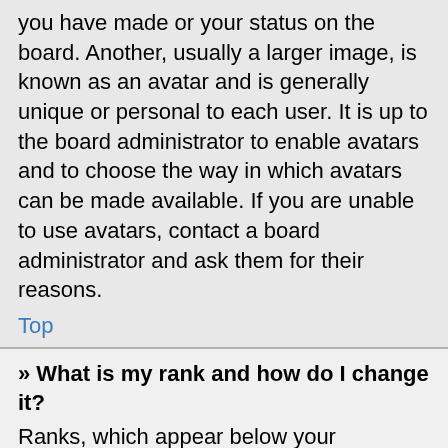you have made or your status on the board. Another, usually a larger image, is known as an avatar and is generally unique or personal to each user. It is up to the board administrator to enable avatars and to choose the way in which avatars can be made available. If you are unable to use avatars, contact a board administrator and ask them for their reasons.
Top
» What is my rank and how do I change it?
Ranks, which appear below your username, indicate the number of posts you have made or identify certain users, e.g. moderators and administrators. In general, you cannot directly